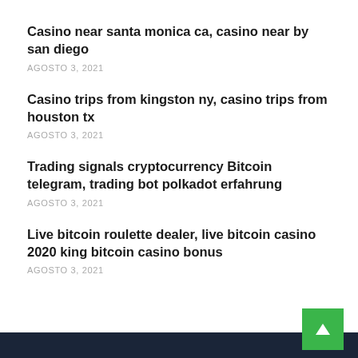Casino near santa monica ca, casino near by san diego
AGOSTO 3, 2021
Casino trips from kingston ny, casino trips from houston tx
AGOSTO 3, 2021
Trading signals cryptocurrency Bitcoin telegram, trading bot polkadot erfahrung
AGOSTO 3, 2021
Live bitcoin roulette dealer, live bitcoin casino 2020 king bitcoin casino bonus
AGOSTO 3, 2021